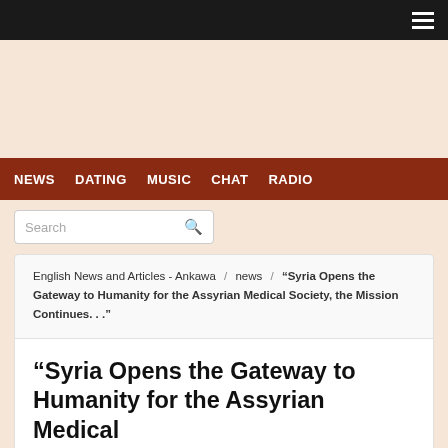Navigation hamburger menu icon
NEWS   DATING   MUSIC   CHAT   RADIO
Search
English News and Articles - Ankawa / news / “Syria Opens the Gateway to Humanity for the Assyrian Medical Society, the Mission Continues. . .”
“Syria Opens the Gateway to Humanity for the Assyrian Medical